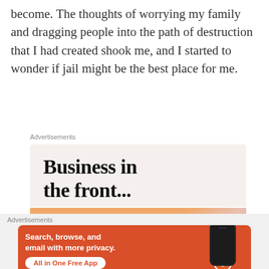become. The thoughts of worrying my family and dragging people into the path of destruction that I had created shook me, and I started to wonder if jail might be the best place for me.
Advertisements
[Figure (infographic): Advertisement banner: top half shows 'Business in the front...' in large bold serif text on light beige background; bottom half shows 'WordPress in the back' on orange-to-pink gradient background.]
Advertisements
[Figure (infographic): DuckDuckGo advertisement on orange/red background: 'Search, browse, and email with more privacy. All in One Free App' with phone graphic and DuckDuckGo logo.]